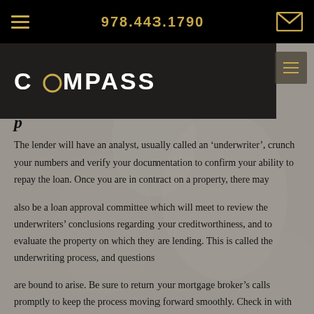978.443.1790
[Figure (logo): COMPASS logo in white bold text on dark background, with stylized O]
The lender will have an analyst, usually called an 'underwriter', crunch your numbers and verify your documentation to confirm your ability to repay the loan. Once you are in contract on a property, there may
also be a loan approval committee which will meet to review the underwriters' conclusions regarding your creditworthiness, and to evaluate the property on which they are lending. This is called the underwriting process, and questions
are bound to arise. Be sure to return your mortgage broker's calls promptly to keep the process moving forward smoothly. Check in with your broker periodically.